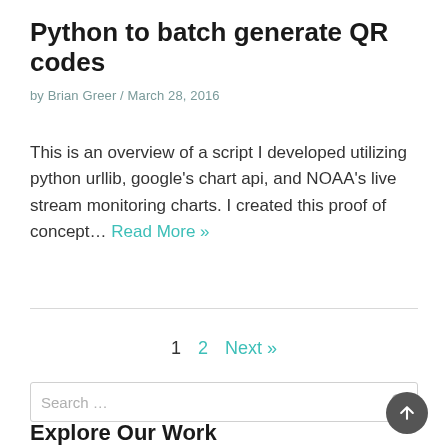Python to batch generate QR codes
by Brian Greer / March 28, 2016
This is an overview of a script I developed utilizing python urllib, google's chart api, and NOAA's live stream monitoring charts. I created this proof of concept… Read More »
1  2  Next »
Search …
Explore Our Work